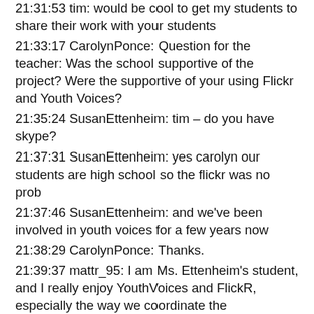21:31:53 tim: would be cool to get my students to share their work with your students
21:33:17 CarolynPonce: Question for the teacher: Was the school supportive of the project? Were the supportive of your using Flickr and Youth Voices?
21:35:24 SusanEttenheim: tim – do you have skype?
21:37:31 SusanEttenheim: yes carolyn our students are high school so the flickr was no prob
21:37:46 SusanEttenheim: and we've been involved in youth voices for a few years now
21:38:29 CarolynPonce: Thanks.
21:39:37 mattr_95: I am Ms. Ettenheim's student, and I really enjoy YouthVoices and FlickR, especially the way we coordinate the